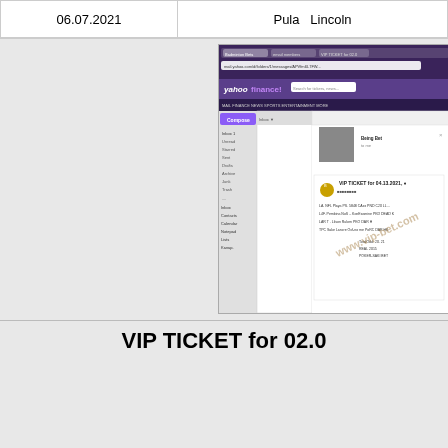| Date | Match |
| --- | --- |
| 06.07.2021 | Pula  Lincoln |
[Figure (screenshot): Screenshot of Yahoo Mail inbox showing a VIP TICKET email with match details]
VIP TICKET for 02.0
| Date | Match |
| --- | --- |
| 02.07.2021 | Jerv – Sog |
| 02.07.2021 | Wexford – A |
| 02.07.2021 | Ranheim – Fr |
| 02.07.2021 | National Bank Egy |